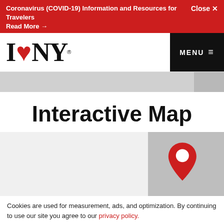Coronavirus (COVID-19) Information and Resources for Travelers Read More → Close ✕
[Figure (logo): I Love NY logo — black serif I, red heart, NY text with registered trademark symbol]
MENU ≡
Interactive Map
[Figure (map): Interactive map screenshot showing a light gray map area on the left and a darker gray panel on the right with a red and white map pin/location icon]
Cookies are used for measurement, ads, and optimization. By continuing to use our site you agree to our privacy policy.
ACCEPT